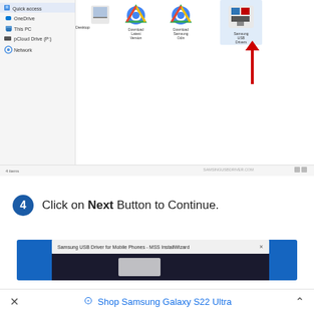[Figure (screenshot): Windows File Explorer screenshot showing Quick access, OneDrive, This PC, pCloud Drive, Network in left sidebar. Main area shows 4 file icons: Desktop, Download Latest Version, Download Samsung Odin, Samsung USB Drivers. A red arrow points to Samsung USB Drivers icon. Status bar shows '4 items' and 'SAMSUNGUSBRDRIVER.COM' watermark.]
4  Click on Next Button to Continue.
[Figure (screenshot): Samsung USB Driver for Mobile Phones - MSS InstallWizard dialog partially visible at bottom of page]
Shop Samsung Galaxy S22 Ultra